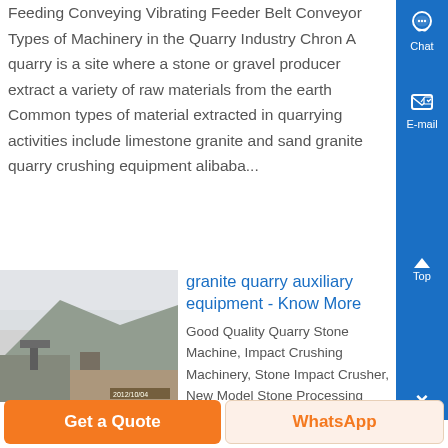Feeding Conveying Vibrating Feeder Belt Conveyor Types of Machinery in the Quarry Industry Chron A quarry is a site where a stone or gravel producer extract a variety of raw materials from the earth Common types of material extracted in quarrying activities include limestone granite and sand granite quarry crushing equipment alibaba...
[Figure (photo): Photograph of a granite quarry site in foggy/misty conditions showing quarry machinery and mountainous terrain]
granite quarry auxiliary equipment - Know More
Good Quality Quarry Stone Machine, Impact Crushing Machinery, Stone Impact Crusher, New Model Stone Processing